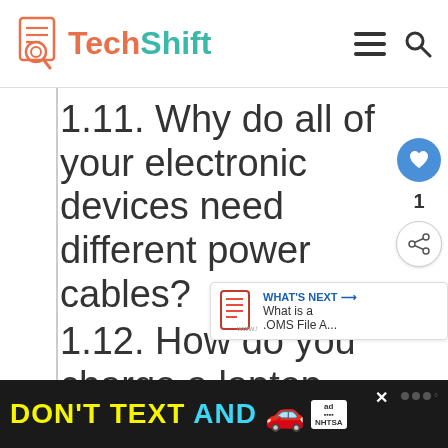TechShift
1.11. Why do all of your electronic devices need different power cables?
1.12. How do you charge a laptop without the charger?
1.13. Does it matter what power cord I use?
[Figure (other): Advertisement banner: DON'T TEXT AND with car emoji, NHTSA ad]
[Figure (other): What's Next box: What is a .OMS File A...]